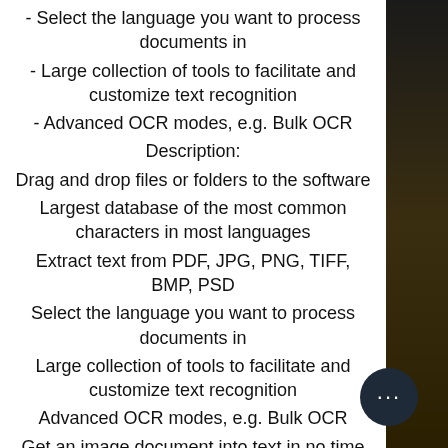- Select the language you want to process documents in
- Large collection of tools to facilitate and customize text recognition
- Advanced OCR modes, e.g. Bulk OCR
Description:
Drag and drop files or folders to the software
Largest database of the most common characters in most languages
Extract text from PDF, JPG, PNG, TIFF, BMP, PSD
Select the language you want to process documents in
Large collection of tools to facilitate and customize text recognition
Advanced OCR modes, e.g. Bulk OCR
Get an image document into text in no time with an OCR...
Description:
Get an image document into text in no time with an OCR that is as intuitive as it is...